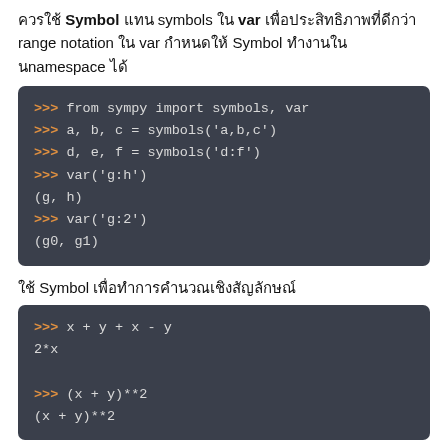ควรใช้ Symbol แทน symbols ใน var เพื่อประสิทธิภาพที่ดีกว่า range notation ใน var กำหนดให้ Symbol ทำงานใน namespace ได้
>>> from sympy import symbols, var
>>> a, b, c = symbols('a,b,c')
>>> d, e, f = symbols('d:f')
>>> var('g:h')
(g, h)
>>> var('g:2')
(g0, g1)
ใช้ Symbol เพื่อทำการคำนวณเชิงสัญลักษณ์
>>> x + y + x - y
2*x

>>> (x + y)**2
(x + y)**2